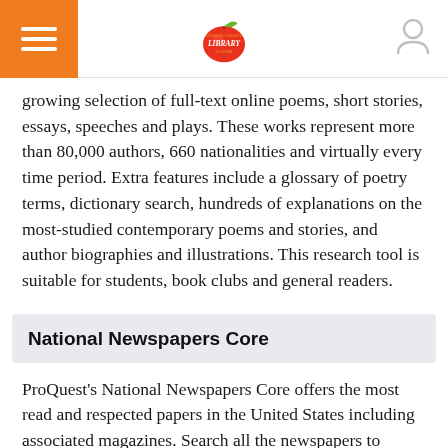[Navigation header with hamburger menu, library logo, and user icon]
growing selection of full-text online poems, short stories, essays, speeches and plays. These works represent more than 80,000 authors, 660 nationalities and virtually every time period. Extra features include a glossary of poetry terms, dictionary search, hundreds of explanations on the most-studied contemporary poems and stories, and author biographies and illustrations. This research tool is suitable for students, book clubs and general readers.
National Newspapers Core
ProQuest's National Newspapers Core offers the most read and respected papers in the United States including associated magazines. Search all the newspapers to quickly find local, regional, and national news.  Choose a tab to search only obituaries or to search a specific newspaper.  Advanced search